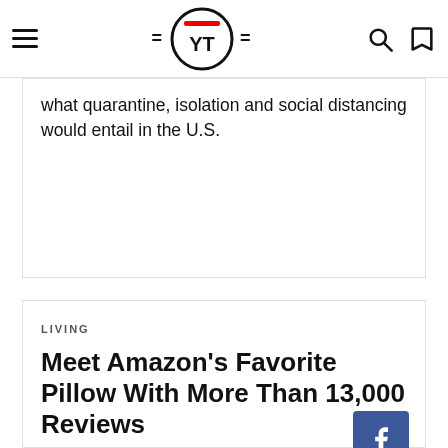YT logo with hamburger menu, search and bookmark icons
what quarantine, isolation and social distancing would entail in the U.S.
LIVING
Meet Amazon’s Favorite Pillow With More Than 13,000 Reviews
[Figure (logo): Facebook share button (blue square with white F icon)]
[Figure (logo): Twitter share button (light blue square with white bird icon)]
[Figure (logo): Pinterest share button (red square with white P icon)]